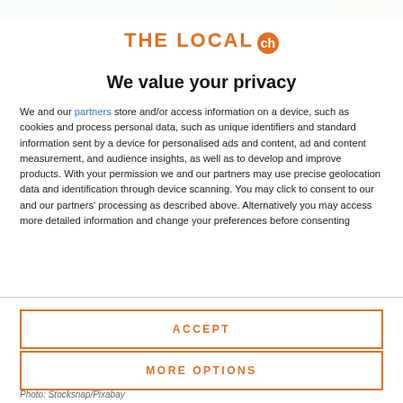[Figure (logo): The Local ch logo with orange text and orange circle badge with 'ch']
We value your privacy
We and our partners store and/or access information on a device, such as cookies and process personal data, such as unique identifiers and standard information sent by a device for personalised ads and content, ad and content measurement, and audience insights, as well as to develop and improve products. With your permission we and our partners may use precise geolocation data and identification through device scanning. You may click to consent to our and our partners' processing as described above. Alternatively you may access more detailed information and change your preferences before consenting
ACCEPT
MORE OPTIONS
Photo: Stocksnap/Pixabay